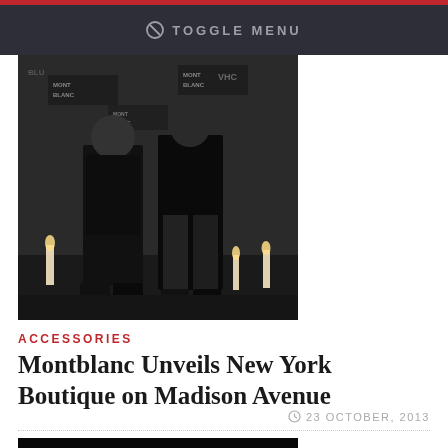TOGGLE MENU
[Figure (photo): Two people standing in front of a Montblanc branded backdrop with candles]
ACCESSORIES
Montblanc Unveils New York Boutique on Madison Avenue
23 OCTOBER, 2013
[Figure (photo): Fashion model wearing a dramatic hat and yellow and black striped garment on a dark background]